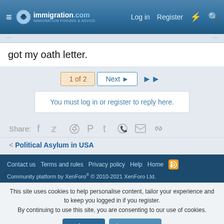immigration.com — Log in  Register
got my oath letter.
1 of 2  Next  ▶▶
You must log in or register to reply here.
Share:
< Political Asylum in USA
Contact us  Terms and rules  Privacy policy  Help  Home
Community platform by XenForo® © 2010-2021 XenForo Ltd.
This site uses cookies to help personalise content, tailor your experience and to keep you logged in if you register. By continuing to use this site, you are consenting to our use of cookies.
✓ Accept  Learn more...